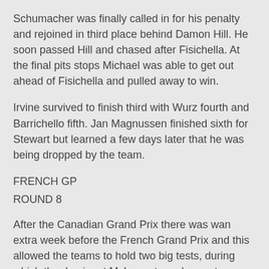Schumacher was finally called in for his penalty and rejoined in third place behind Damon Hill. He soon passed Hill and chased after Fisichella. At the final pits stops Michael was able to get out ahead of Fisichella and pulled away to win.
Irvine survived to finish third with Wurz fourth and Barrichello fifth. Jan Magnussen finished sixth for Stewart but learned a few days later that he was being dropped by the team.
FRENCH GP
ROUND 8
After the Canadian Grand Prix there was wan extra week before the French Grand Prix and this allowed the teams to hold two big tests, during which the dominant McLaren team began to realise that there was not a great more potential for development left in the MP4-13 even if the tyres could be improved. It had been such a good car straight out of the box that there not much more to be found.
In Magny-Cours testing Ferrari was quicker despite the